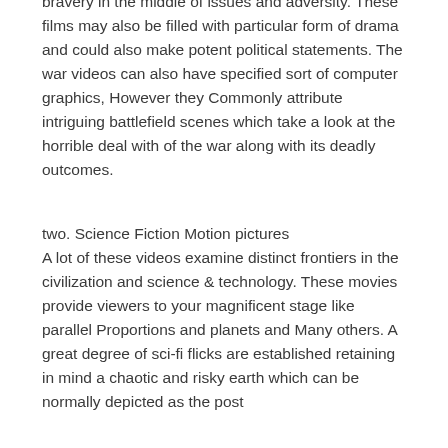bravery in the middle of issues and adversity. These films may also be filled with particular form of drama and could also make potent political statements. The war videos can also have specified sort of computer graphics, However they Commonly attribute intriguing battlefield scenes which take a look at the horrible deal with of the war along with its deadly outcomes.
two. Science Fiction Motion pictures A lot of these videos examine distinct frontiers in the civilization and science & technology. These movies provide viewers to your magnificent stage like parallel Proportions and planets and Many others. A great degree of sci-fi flicks are established retaining in mind a chaotic and risky earth which can be normally depicted as the post